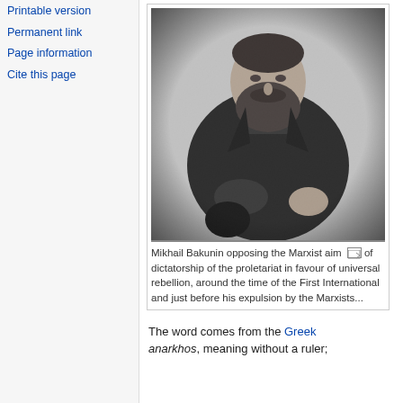Printable version
Permanent link
Page information
Cite this page
[Figure (photo): Black and white photograph of Mikhail Bakunin, a bearded man in a dark coat, seated, looking slightly to the side.]
Mikhail Bakunin opposing the Marxist aim of dictatorship of the proletariat in favour of universal rebellion, around the time of the First International and just before his expulsion by the Marxists...
The word comes from the Greek anarkhos, meaning without a ruler;